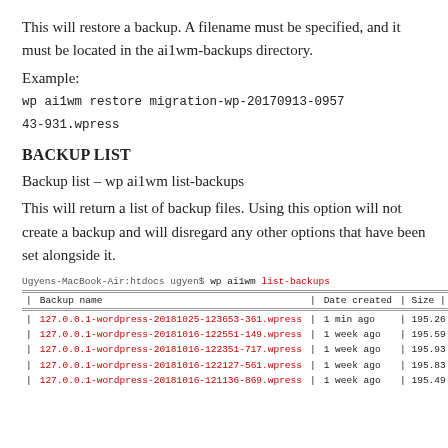This will restore a backup. A filename must be specified, and it must be located in the ai1wm-backups directory.
Example:
wp ai1wm restore migration-wp-20170913-095743-931.wpress
BACKUP LIST
Backup list – wp ai1wm list-backups
This will return a list of backup files. Using this option will not create a backup and will disregard any other options that have been set alongside it.
[Figure (screenshot): Terminal screenshot showing 'wp ai1wm list-backups' command output with a table of backup files, their creation dates, and sizes. Columns: Backup name, Date created, Size. Rows include entries for 127.0.0.1-wordpress files dated 2018 with sizes around 195 MB.]